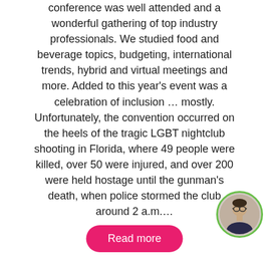conference was well attended and a wonderful gathering of top industry professionals. We studied food and beverage topics, budgeting, international trends, hybrid and virtual meetings and more. Added to this year’s event was a celebration of inclusion ... mostly. Unfortunately, the convention occurred on the heels of the tragic LGBT nightclub shooting in Florida, where 49 people were killed, over 50 were injured, and over 200 were held hostage until the gunman’s death, when police stormed the club around 2 a.m.…
[Figure (photo): Circular avatar photo of a person with glasses, framed by a green circular border, positioned in the bottom-right corner.]
Read more